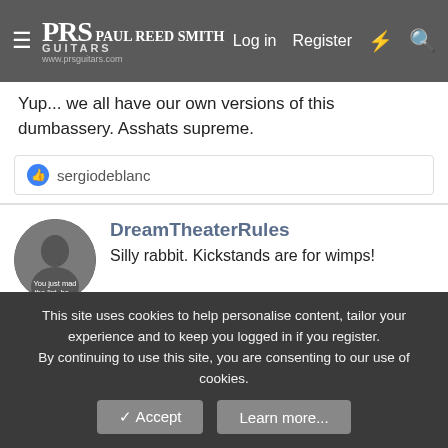[Figure (screenshot): PRS Paul Reed Smith Guitars website header bar with logo, hamburger menu, Log in, Register, lightning bolt, and search icons on dark grey background]
Yup... we all have our own versions of this dumbassery. Asshats supreme.
👍 sergiodeblanc
[Figure (photo): Circular avatar photo of a young man, with overlay text 'You just made the list, ha...']
DreamTheaterRules
Silly rabbit. Kickstands are for wimps!
Oct 2, 2018
#13
I deleted all my photos from there when they pulled that crap. Had to download some of them since they were loaded from older devices, but I got them all and moved them. After what they did, I won't go back. Won't reward their decision, and, have
This site uses cookies to help personalise content, tailor your experience and to keep you logged in if you register.
By continuing to use this site, you are consenting to our use of cookies.
✓ Accept
Learn more...